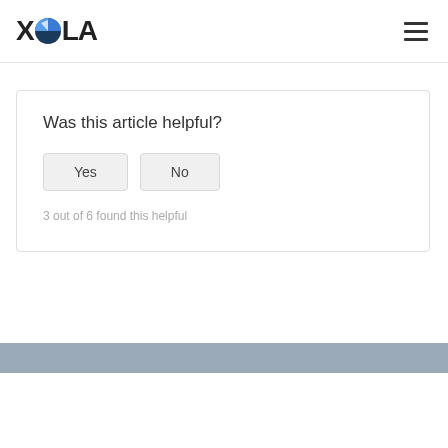XOLA
Was this article helpful?
Yes   No
3 out of 6 found this helpful